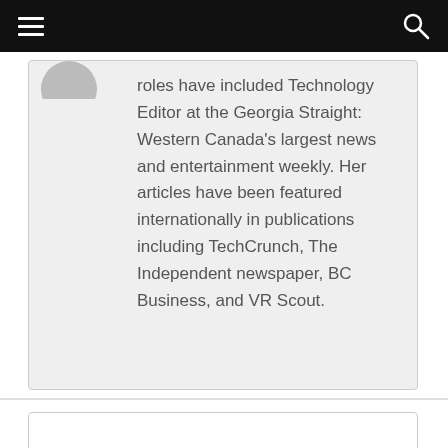roles have included Technology Editor at the Georgia Straight: Western Canada's largest news and entertainment weekly. Her articles have been featured internationally in publications including TechCrunch, The Independent newspaper, BC Business, and VR Scout.